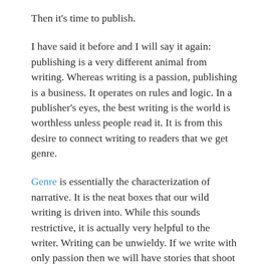Then it's time to publish.
I have said it before and I will say it again: publishing is a very different animal from writing. Whereas writing is a passion, publishing is a business. It operates on rules and logic. In a publisher's eyes, the best writing is the world is worthless unless people read it. It is from this desire to connect writing to readers that we get genre.
Genre is essentially the characterization of narrative. It is the neat boxes that our wild writing is driven into. While this sounds restrictive, it is actually very helpful to the writer. Writing can be unwieldy. If we write with only passion then we will have stories that shoot wildly in many directions. Genre, and the logic behind it, helps focus our narratives on a desired goal. In writing a romance, the main drive of the plot has to be the protagonist's relationship. In writing science-fiction, the writer must fully explore their idea of a non-existent